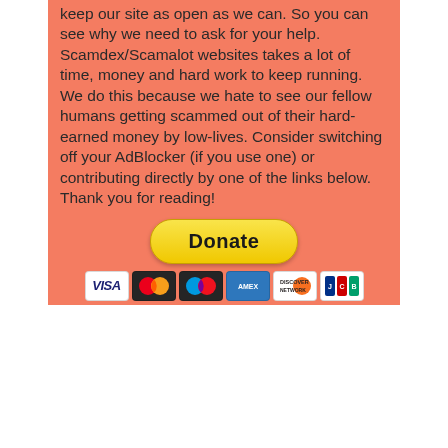keep our site as open as we can. So you can see why we need to ask for your help. Scamdex/Scamalot websites takes a lot of time, money and hard work to keep running. We do this because we hate to see our fellow humans getting scammed out of their hard-earned money by low-lives. Consider switching off your AdBlocker (if you use one) or contributing directly by one of the links below. Thank you for reading!
[Figure (other): PayPal Donate button (yellow/gold rounded rectangle) with payment card logos below (Visa, Mastercard, Maestro, American Express, Discover, JCB)]